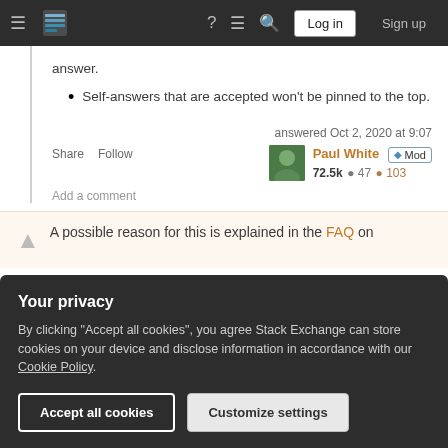[Figure (screenshot): Stack Exchange navigation bar with hamburger menu, logo, question mark icon, feedback icon, search icon, Log in button, and Sign up button on dark background]
answer.
Self-answers that are accepted won't be pinned to the top.
Share   Follow    answered Oct 2, 2020 at 9:07  Paul White ◆ Mod  72.5k ● 47 ● 103
Add a comment
A possible reason for this is explained in the FAQ on
Your privacy
By clicking "Accept all cookies", you agree Stack Exchange can store cookies on your device and disclose information in accordance with our Cookie Policy.
Accept all cookies   Customize settings